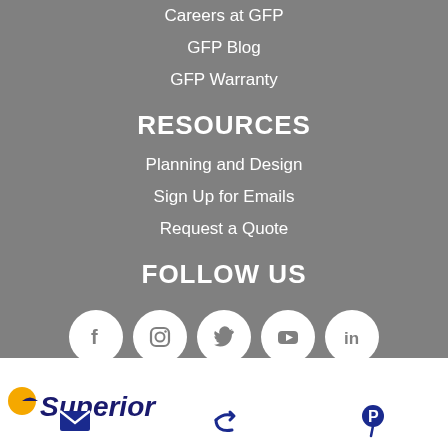Careers at GFP
GFP Blog
GFP Warranty
RESOURCES
Planning and Design
Sign Up for Emails
Request a Quote
FOLLOW US
[Figure (infographic): Social media icons: Facebook, Instagram, Twitter, YouTube, LinkedIn — white icons in white circles on gray background]
[Figure (logo): Superior logo partially visible at bottom left, white background]
[Figure (infographic): Bottom navigation icons: email/envelope, share/forward arrow, Pinterest pin — dark blue icons on white background]